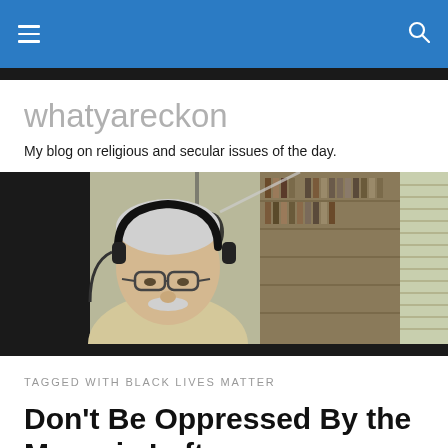whatyareckon — navigation bar
whatyareckon
My blog on religious and secular issues of the day.
[Figure (photo): Older man with white hair, glasses, and a mustache wearing headphones and speaking into a radio microphone, with shelves of CDs or books in the background.]
TAGGED WITH BLACK LIVES MATTER
Don't Be Oppressed By the Moronic Left
'All leftists are insufferable, but this current crop is